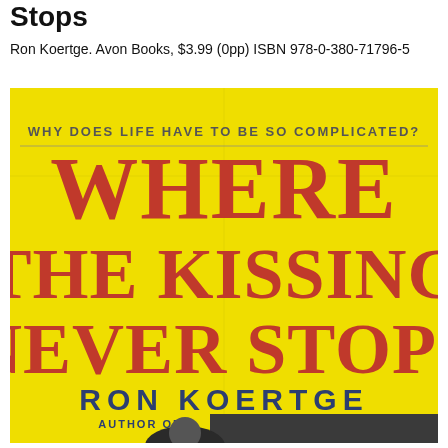Stops
Ron Koertge. Avon Books, $3.99 (0pp) ISBN 978-0-380-71796-5
[Figure (photo): Book cover of 'Where The Kissing Never Stops' by Ron Koertge. Yellow background with large red stylized text for the title. Subtitle reads 'WHY DOES LIFE HAVE TO BE SO COMPLICATED?' at top. Author name 'RON KOERTGE' in dark blue at bottom, with 'AUTHOR OF' below. A person's head is partially visible at the very bottom.]